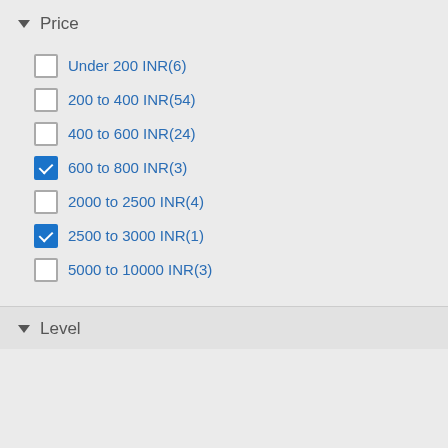Price
Under 200 INR(6)
200 to 400 INR(54)
400 to 600 INR(24)
600 to 800 INR(3)
2000 to 2500 INR(4)
2500 to 3000 INR(1)
5000 to 10000 INR(3)
Level